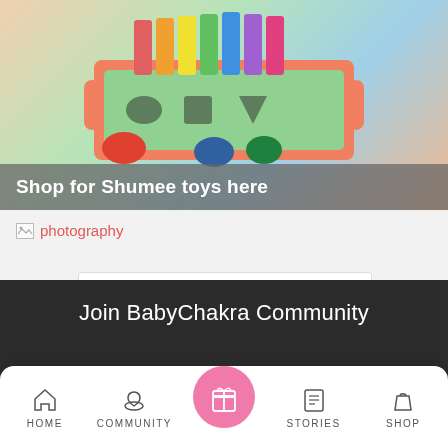[Figure (photo): Colorful wooden toy with xylophone, animal shape sorters, and various toy pieces on a light background, with a semi-transparent overlay reading 'Shop for Shumee toys here']
photography
Load More...
Join BabyChakra Community
[Figure (other): Bottom navigation bar with icons: HOME, COMMUNITY, center gift/shop pink circle, STORIES, SHOP]